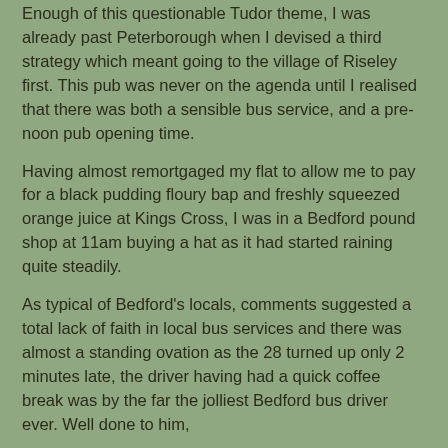Enough of this questionable Tudor theme, I was already past Peterborough when I devised a third strategy which meant going to the village of Riseley first.  This pub was never on the agenda until I realised that there was both a sensible bus service, and a pre-noon pub opening time.
Having almost remortgaged my flat to allow me to pay for a black pudding floury bap and freshly squeezed orange juice at Kings Cross, I was in a Bedford pound shop at 11am buying a hat as it had started raining quite steadily.
As typical of Bedford's locals, comments suggested a total lack of faith in local bus services and there was almost a standing ovation as the 28 turned up only 2 minutes late, the driver having had a quick coffee break was by the far the jolliest Bedford bus driver ever.  Well done to him,
715.  Fox and Hounds, Riseley
In a village a few miles North and quite rural, I was not too surprised to see elements of the old 'gastro pub' rearing their ugly head.  A side room with knives and forks and placemats to the right, and a 'butchers counter' to the left.  It took a